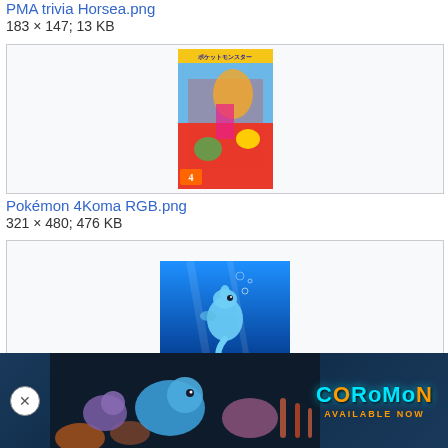PMA trivia Horsea.png
183 × 147; 13 KB
[Figure (illustration): Pokémon 4Koma RGB manga cover showing Pokémon characters with Japanese text]
Pokémon 4Koma RGB.png
321 × 480; 476 KB
[Figure (illustration): Horsea Pokémon swimming underwater with blue ocean background]
Pokémon Iceberg Race Horsea.png
[Figure (illustration): Coromon game advertisement banner showing aquatic creatures with COROMON AVAILABLE NOW text]